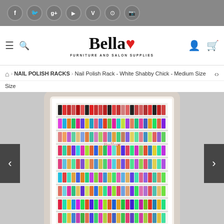Social media icons bar: Facebook, Twitter, Google+, YouTube, Vimeo, Pinterest, Instagram
[Figure (logo): Bella Furniture and Salon Supplies logo with red heart, hamburger menu, search icon, user icon, cart icon]
NAIL POLISH RACKS > Nail Polish Rack - White Shabby Chick - Medium Size
[Figure (photo): White ornate framed nail polish rack displaying multiple rows of colorful nail polish bottles, with Bella logo visible on the rack]